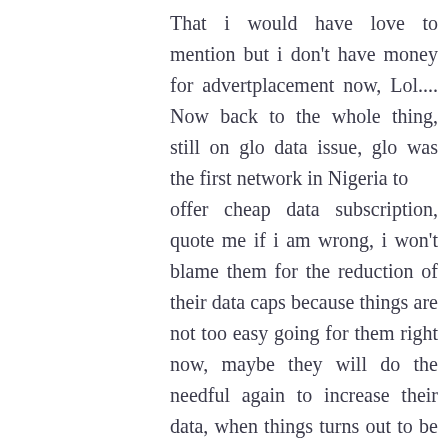That i would have love to mention but i don't have money for advertplacement now, Lol.... Now back to the whole thing, still on glo data issue, glo was the first network in Nigeria to offer cheap data subscription, quote me if i am wrong, i won't blame them for the reduction of their data caps because things are not too easy going for them right now, maybe they will do the needful again to increase their data, when things turns out to be smooth for then in nearest future, but considering it sha o, their data still remain the cheapest followed by airtel, still manageable Right? But the issue of poor quality of network should be looked into, i believe that is their